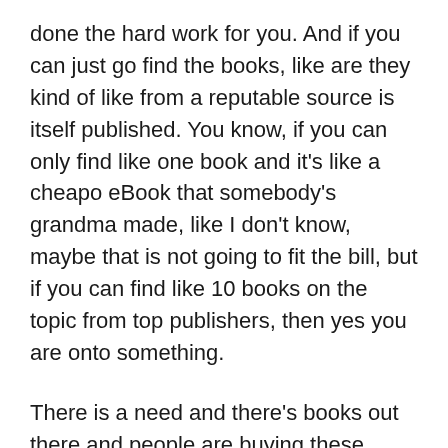done the hard work for you. And if you can just go find the books, like are they kind of like from a reputable source is itself published. You know, if you can only find like one book and it's like a cheapo eBook that somebody's grandma made, like I don't know, maybe that is not going to fit the bill, but if you can find like 10 books on the topic from top publishers, then yes you are onto something.
There is a need and there's books out there and people are buying these books and you could very well target that population. Now that is not the only way to do market research. I'm just putting it out there because it's, I mean it's pretty easy, right?